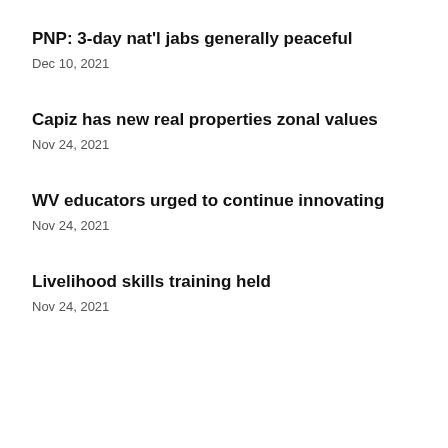PNP: 3-day nat'l jabs generally peaceful
Dec 10, 2021
Capiz has new real properties zonal values
Nov 24, 2021
WV educators urged to continue innovating
Nov 24, 2021
Livelihood skills training held
Nov 24, 2021